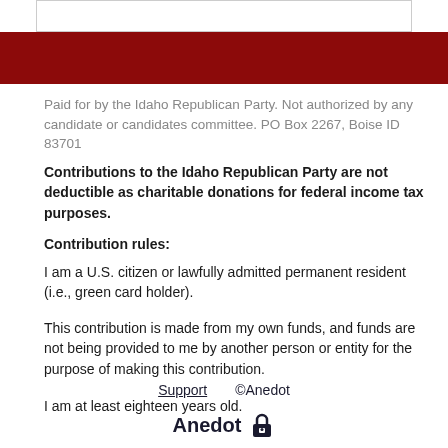Paid for by the Idaho Republican Party. Not authorized by any candidate or candidates committee. PO Box 2267, Boise ID 83701
Contributions to the Idaho Republican Party are not deductible as charitable donations for federal income tax purposes.
Contribution rules:
I am a U.S. citizen or lawfully admitted permanent resident (i.e., green card holder).
This contribution is made from my own funds, and funds are not being provided to me by another person or entity for the purpose of making this contribution.
I am at least eighteen years old.
Support  ©Anedot  Anedot 🔒